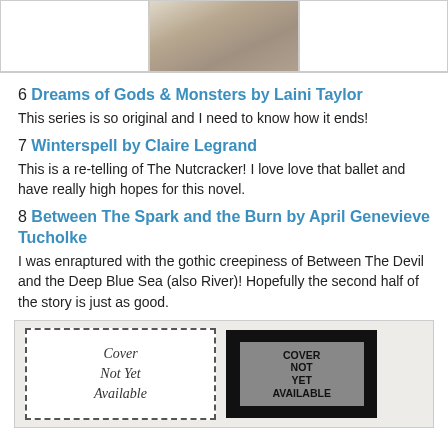[Figure (photo): Three book cover images at the top; left and right are mostly white/blank, center shows a floral/nature image]
6 Dreams of Gods & Monsters by Laini Taylor
This series is so original and I need to know how it ends!
7 Winterspell by Claire Legrand
This is a re-telling of The Nutcracker! I love love that ballet and have really high hopes for this novel.
8 Between The Spark and the Burn by April Genevieve Tucholke
I was enraptured with the gothic creepiness of Between The Devil and the Deep Blue Sea (also River)! Hopefully the second half of the story is just as good.
[Figure (photo): Two placeholder book cover images: left shows 'Cover Not Yet Available' in italic text with dashed border; right shows 'COVER NOT YET AVAILABLE' in bold black text on dark background]